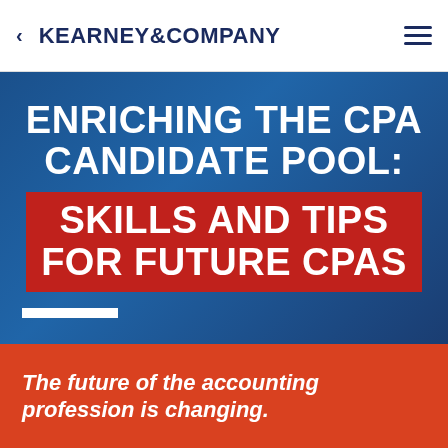< KEARNEY & COMPANY
ENRICHING THE CPA CANDIDATE POOL: SKILLS AND TIPS FOR FUTURE CPAS
The future of the accounting profession is changing.